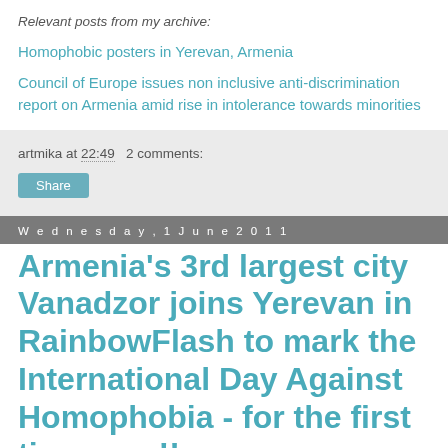Relevant posts from my archive:
Homophobic posters in Yerevan, Armenia
Council of Europe issues non inclusive anti-discrimination report on Armenia amid rise in intolerance towards minorities
artmika at 22:49   2 comments:
Share
Wednesday, 1 June 2011
Armenia’s 3rd largest city Vanadzor joins Yerevan in RainbowFlash to mark the International Day Against Homophobia - for the first time ever!!
RainbowFlash in Yerevan